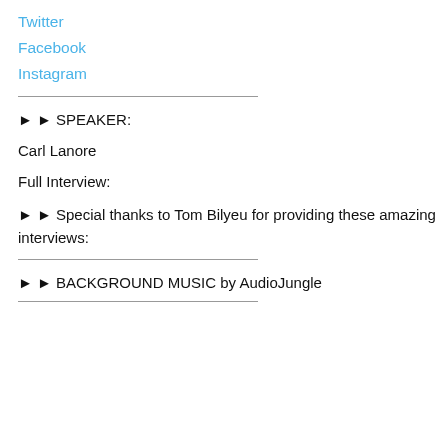Twitter
Facebook
Instagram
► ► SPEAKER:
Carl Lanore
Full Interview:
► ► Special thanks to Tom Bilyeu for providing these amazing interviews:
► ► BACKGROUND MUSIC by AudioJungle